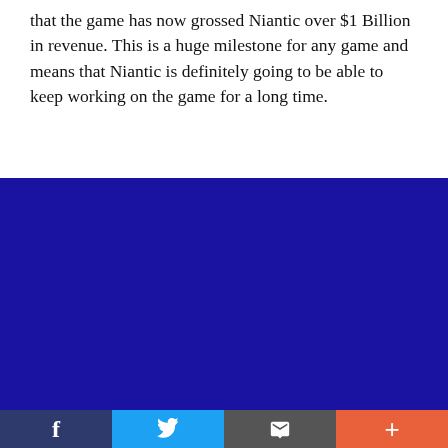that the game has now grossed Niantic over $1 Billion in revenue. This is a huge milestone for any game and means that Niantic is definitely going to be able to keep working on the game for a long time.
[Figure (other): Large dark blue rectangular content area (advertisement or image placeholder)]
[Figure (other): Social share bar with four buttons: Facebook (dark blue, 'f' icon), Twitter (light blue, bird icon), Email (gray, envelope icon), More (orange, plus icon)]